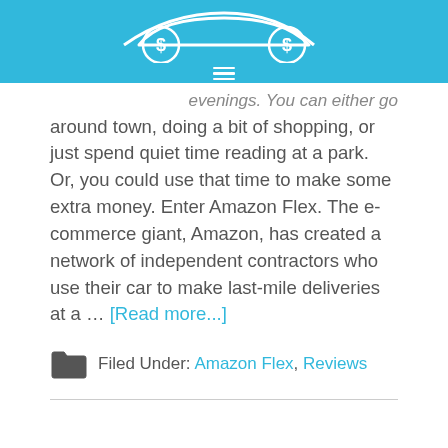[Figure (logo): Car with dollar signs logo on a cyan/blue background header, with hamburger menu icon below]
evenings. You can either go around town, doing a bit of shopping, or just spend quiet time reading at a park. Or, you could use that time to make some extra money. Enter Amazon Flex. The e-commerce giant, Amazon, has created a network of independent contractors who use their car to make last-mile deliveries at a … [Read more...]
Filed Under: Amazon Flex, Reviews